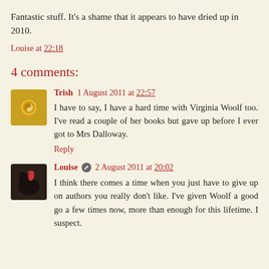Fantastic stuff. It's a shame that it appears to have dried up in 2010.
Louise at 22:18
4 comments:
Trish  1 August 2011 at 22:57
I have to say, I have a hard time with Virginia Woolf too. I've read a couple of her books but gave up before I ever got to Mrs Dalloway.
Reply
Louise  2 August 2011 at 20:02
I think there comes a time when you just have to give up on authors you really don't like. I've given Woolf a good go a few times now, more than enough for this lifetime. I suspect.